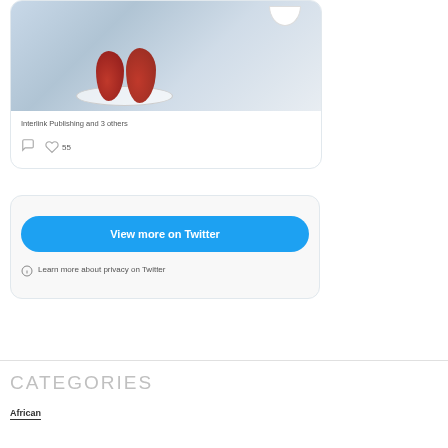[Figure (photo): Food photo showing red poached pears on a plate with a white bowl of spices on a blue-gray background]
Interlink Publishing and 3 others
55
View more on Twitter
Learn more about privacy on Twitter
CATEGORIES
African